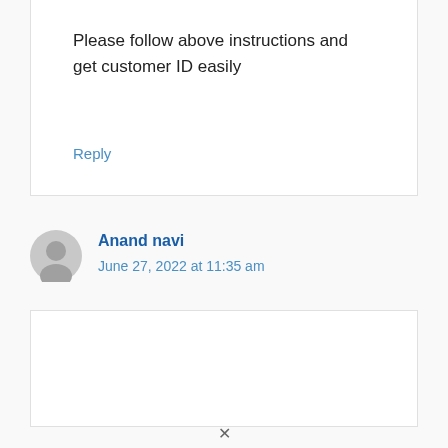Please follow above instructions and get customer ID easily
Reply
Anand navi
June 27, 2022 at 11:35 am